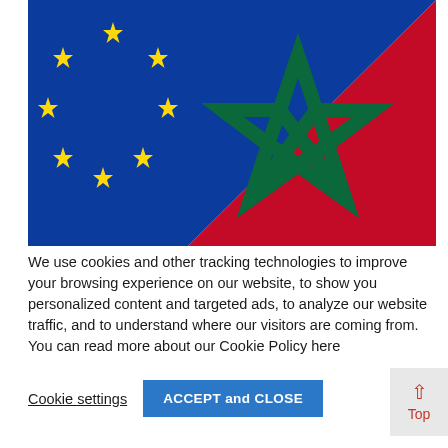[Figure (photo): Composite image showing the EU flag (blue with yellow stars) on the left and the Moroccan flag (red with green pentagram star) on the right, overlapping diagonally.]
We use cookies and other tracking technologies to improve your browsing experience on our website, to show you personalized content and targeted ads, to analyze our website traffic, and to understand where our visitors are coming from. You can read more about our Cookie Policy here
Cookie settings
ACCEPT and CLOSE
Top